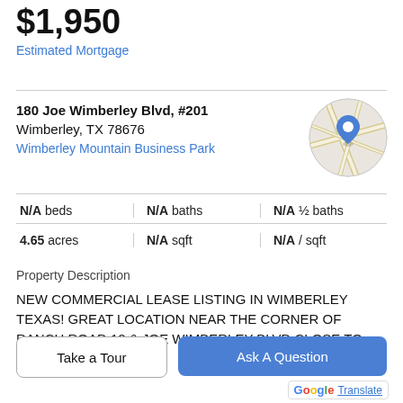$1,950
Estimated Mortgage
180 Joe Wimberley Blvd, #201
Wimberley, TX 78676
Wimberley Mountain Business Park
[Figure (map): Circular map thumbnail with a blue location pin marker over a beige road map background]
| Beds | Baths | Half Baths |
| --- | --- | --- |
| N/A beds | N/A baths | N/A ½ baths |
| 4.65 acres | N/A sqft | N/A / sqft |
Property Description
NEW COMMERCIAL LEASE LISTING IN WIMBERLEY TEXAS! GREAT LOCATION NEAR THE CORNER OF RANCH ROAD 12 & JOE WIMBERLEY BLVD CLOSE TO
Take a Tour
Ask A Question
G Translate